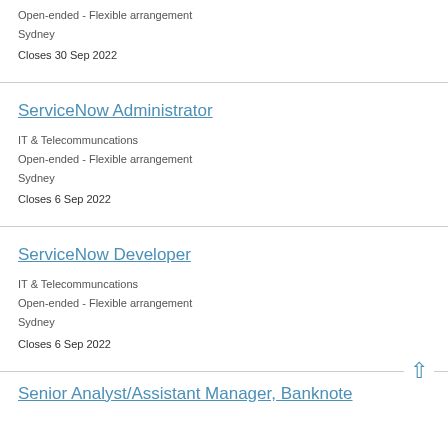Open-ended - Flexible arrangement
Sydney
Closes 30 Sep 2022
ServiceNow Administrator
IT & Telecommuncations
Open-ended - Flexible arrangement
Sydney
Closes 6 Sep 2022
ServiceNow Developer
IT & Telecommuncations
Open-ended - Flexible arrangement
Sydney
Closes 6 Sep 2022
Senior Analyst/Assistant Manager, Banknote